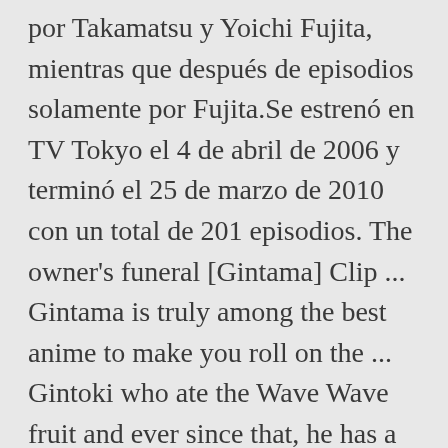por Takamatsu y Yoichi Fujita, mientras que después de episodios solamente por Fujita.Se estrenó en TV Tokyo el 4 de abril de 2006 y terminó el 25 de marzo de 2010 con un total de 201 episodios. The owner's funeral [Gintama] Clip ... Gintama is truly among the best anime to make you roll on the ... Gintoki who ate the Wave Wave fruit and ever since that, he has a natural perm. Get more information about Gintama Season 1 on TMDb. Kagura's 'funeral'. S4, Ep33. He could write a sentence or a whole book, everyone would listen to him. It is a sequel of the first Gintama anime that ended in April 2010. Total Gintama manga chapter count: 681. As Gintoki